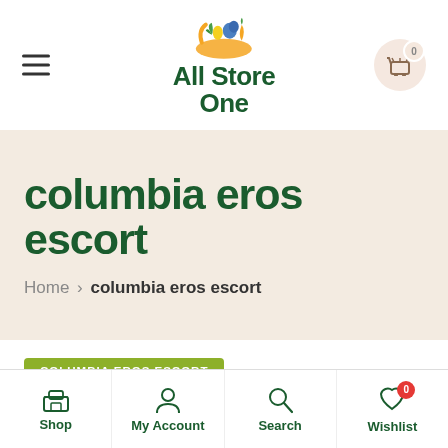[Figure (logo): All Store One grocery store logo with colorful vegetables and fruits on top, green bold text below]
columbia eros escort
Home › columbia eros escort
COLUMBIA EROS ESCORT
August 22, 2021 / by harsha / 0
Shop | My Account | Search | Wishlist